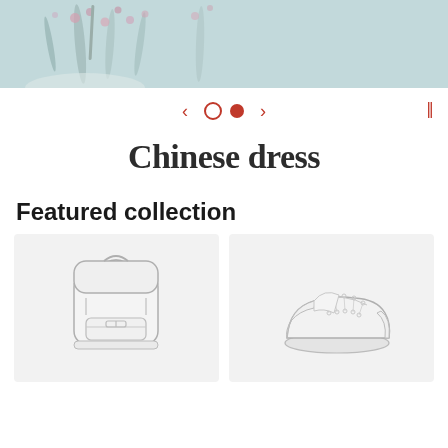[Figure (photo): Hero banner showing a floral/botanical background with soft teal and pink tones]
[Figure (infographic): Carousel navigation controls: left arrow, empty circle dot, filled red circle dot, right arrow, and pause icon]
Chinese dress
Featured collection
[Figure (illustration): Line drawing of a backpack on a light gray product card]
[Figure (illustration): Line drawing of a sneaker/shoe on a light gray product card]